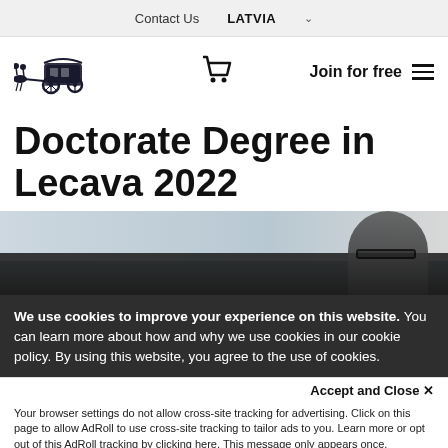Contact Us   LATVIA ˅
[Figure (logo): Vintage horse-drawn carriage logo]
Join for free ≡
Doctorate Degree in Lecava 2022
[Figure (photo): Man with glasses, hero image with dark overlay]
We use cookies to improve your experience on this website. You can learn more about how and why we use cookies in our cookie policy. By using this website, you agree to the use of cookies.
Accept and Close ✕
Your browser settings do not allow cross-site tracking for advertising. Click on this page to allow AdRoll to use cross-site tracking to tailor ads to you. Learn more or opt out of this AdRoll tracking by clicking here. This message only appears once.